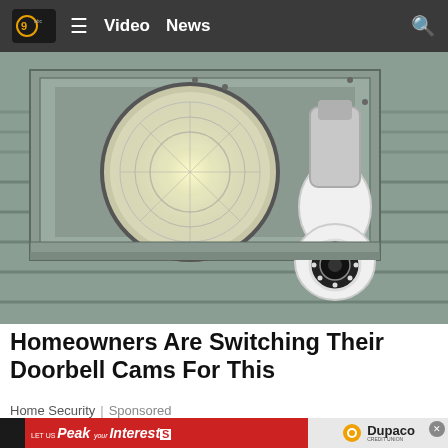Video  News
[Figure (photo): Black and white security camera mounted on a wall bracket next to a round light fixture]
Homeowners Are Switching Their Doorbell Cams For This
Home Security | Sponsored
[Figure (other): Dupaco Credit Union advertisement banner: LET US Peak YOUR Interest(S) - Federally Insured by NCUA]